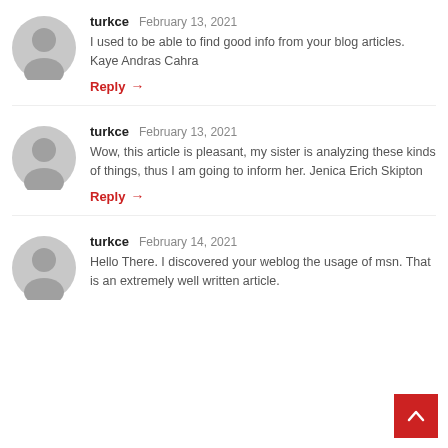turkce  February 13, 2021
I used to be able to find good info from your blog articles. Kaye Andras Cahra
Reply →
turkce  February 13, 2021
Wow, this article is pleasant, my sister is analyzing these kinds of things, thus I am going to inform her. Jenica Erich Skipton
Reply →
turkce  February 14, 2021
Hello There. I discovered your weblog the usage of msn. That is an extremely well written article.